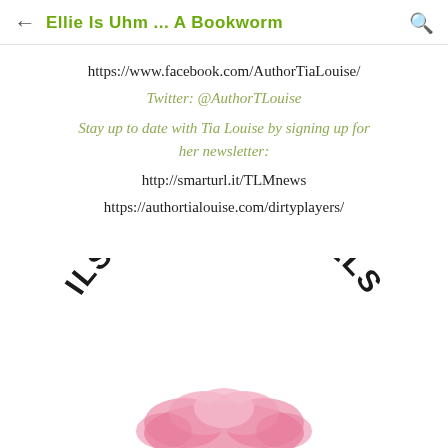← Ellie Is Uhm ... A Bookworm 🔍
https://www.facebook.com/AuthorTiaLouise/
Twitter: @AuthorTLouise
Stay up to date with Tia Louise by signing up for her newsletter:
http://smarturl.it/TLMnews
https://authortialouise.com/dirtyplayers/
[Figure (illustration): Ilsa Madden-Mills author logo with arched text and pink decorative graphic element at the bottom]